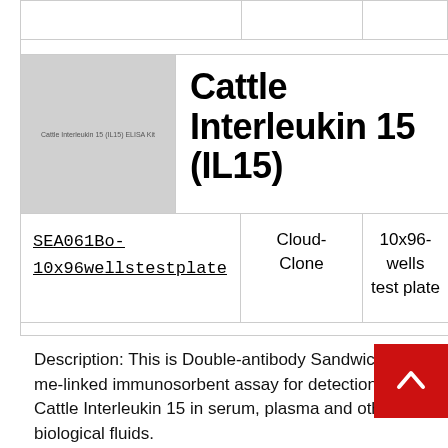|  |  |  |
| --- | --- | --- |
|  |  |  |
[Figure (photo): Cattle Interleukin 15 (IL15) ELISA Kit product image placeholder]
Cattle Interleukin 15 (IL15)
| Product Code | Supplier | Format |
| --- | --- | --- |
| SEA061Bo-10x96wellstestplate | Cloud-Clone | 10x96-wells test plate |
Description: This is Double-antibody Sandwich Enzyme-linked immunosorbent assay for detection of Cattle Interleukin 15 in serum, plasma and other biological fluids.
[Figure (photo): Cattle Interleukin 15 (IL15) ELISA Kit product image placeholder second]
Cattle Interleukin 15 (IL15)